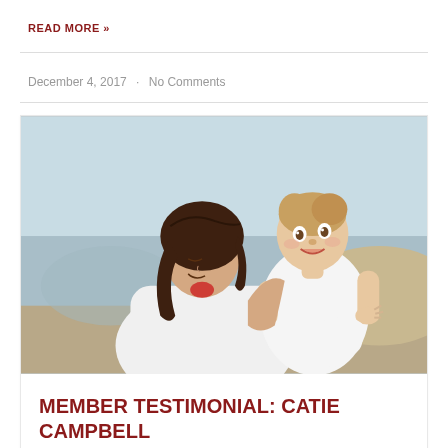READ MORE »
December 4, 2017  ·  No Comments
[Figure (photo): A woman holding a baby at a beach. The woman has dark brown hair and is wearing a white top. The baby is wearing a white dress and appears to be smiling. The background shows a blurry beach/ocean scene.]
MEMBER TESTIMONIAL: CATIE CAMPBELL